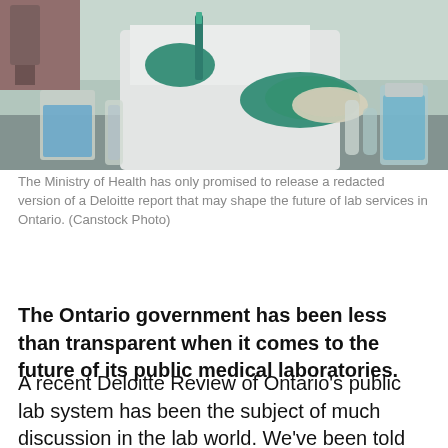[Figure (photo): A lab worker wearing teal/green gloves and a white lab coat holds a petri dish in one hand and a pipette in the other. Laboratory glassware including beakers with blue liquid and other containers are visible on the bench.]
The Ministry of Health has only promised to release a redacted version of a Deloitte report that may shape the future of lab services in Ontario. (Canstock Photo)
The Ontario government has been less than transparent when it comes to the future of its public medical laboratories.
A recent Deloitte Review of Ontario's public lab system has been the subject of much discussion in the lab world. We've been told by those who have seen it that it sets the